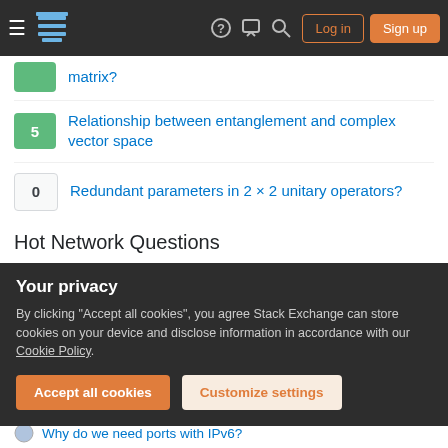Navigation bar with hamburger menu, Stack Exchange logo, help, chat, search icons, Log in and Sign up buttons
matrix?
5 — Relationship between entanglement and complex vector space
0 — Redundant parameters in 2 × 2 unitary operators?
Hot Network Questions
An impossible quantum adder claimed by a journal article?
What does "Grant Running" mean?
At what point is uploading a movie with heavy compression not copyright infringement?
What are some non-religious reasons to have highly-advanced
Your privacy
By clicking "Accept all cookies", you agree Stack Exchange can store cookies on your device and disclose information in accordance with our Cookie Policy.
Why do we need ports with IPv6?